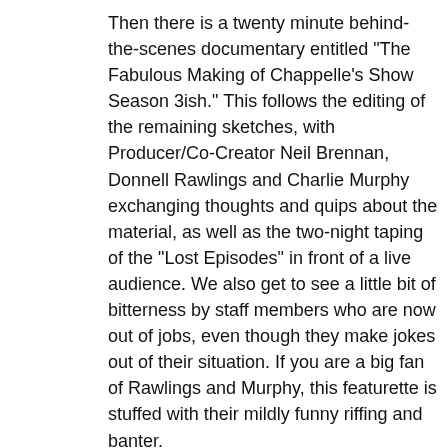Then there is a twenty minute behind-the-scenes documentary entitled "The Fabulous Making of Chappelle's Show Season 3ish." This follows the editing of the remaining sketches, with Producer/Co-Creator Neil Brennan, Donnell Rawlings and Charlie Murphy exchanging thoughts and quips about the material, as well as the two-night taping of the "Lost Episodes" in front of a live audience. We also get to see a little bit of bitterness by staff members who are now out of jobs, even though they make jokes out of their situation. If you are a big fan of Rawlings and Murphy, this featurette is stuffed with their mildly funny riffing and banter.
Next are two Musical Performances. One by John Legend who performs "Ordinary People" and the other by Dead Prez who performs "Hip Hop."
Rounding out the Bonus Features are Comedy Central Quickies (short comedic moments from some of their